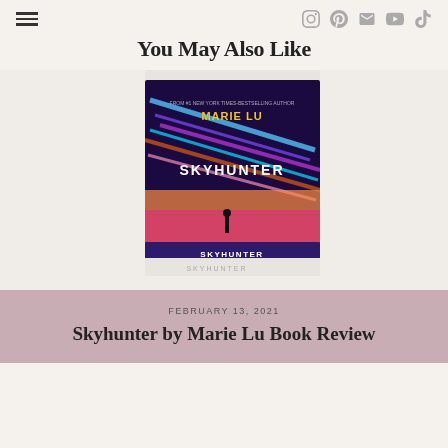Navigation menu and social icons (Instagram, Pinterest, Email, YouTube, TikTok)
You May Also Like
[Figure (photo): Stack of two Skyhunter by Marie Lu books on a white surface. The top book is upright showing the colorful cover with neon streaks of blue, pink, and purple. The bottom book is lying flat showing the spine. Both books display 'SKYHUNTER' text on them.]
FEBRUARY 13, 2021
Skyhunter by Marie Lu Book Review